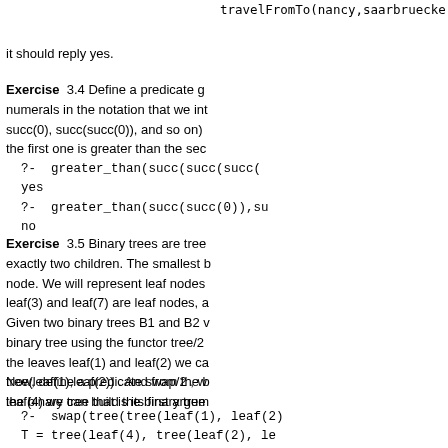travelFromTo(nancy,saarbruecke
it should reply yes.
Exercise 3.4 Define a predicate g numerals in the notation that we int succ(0), succ(succ(0)), and so on) the first one is greater than the sec
?-  greater_than(succ(succ(succ(
yes
?-  greater_than(succ(succ(0)),su
no
Exercise 3.5 Binary trees are tree exactly two children. The smallest b node. We will represent leaf nodes leaf(3) and leaf(7) are leaf nodes, a Given two binary trees B1 and B2 v binary tree using the functor tree/2 the leaves leaf(1) and leaf(2) we ca tree(leaf(1),leaf(2)) . And from the b leaf(4) we can build the binary tree
Now, define a predicate swap/2 , w the binary tree that is its first argum
?-  swap(tree(tree(leaf(1), leaf(2)
T = tree(leaf(4), tree(leaf(2), le
yes